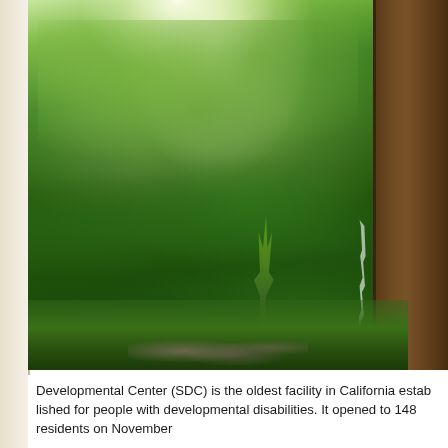[Figure (photo): A lush green forest scene with dense foliage, trees, and a large redwood or sequoia trunk visible on the right side. Dappled sunlight filters through the canopy. A small sapling is visible in the foreground. Rocks and undergrowth are at the bottom.]
Developmental Center (SDC) is the oldest facility in California established for people with developmental disabilities. It opened to 148 residents on November